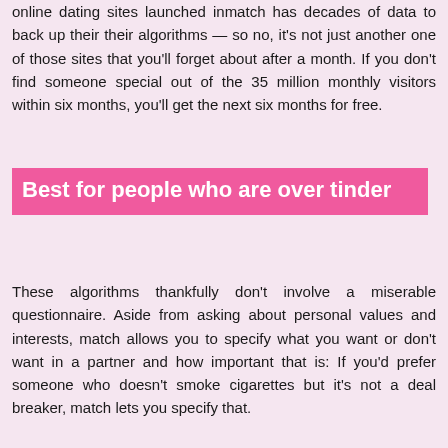online dating sites launched inmatch has decades of data to back up their their algorithms — so no, it's not just another one of those sites that you'll forget about after a month. If you don't find someone special out of the 35 million monthly visitors within six months, you'll get the next six months for free.
Best for people who are over tinder
These algorithms thankfully don't involve a miserable questionnaire. Aside from asking about personal values and interests, match allows you to specify what you want or don't want in a partner and how important that is: If you'd prefer someone who doesn't smoke cigarettes but it's not a deal breaker, match lets you specify that.